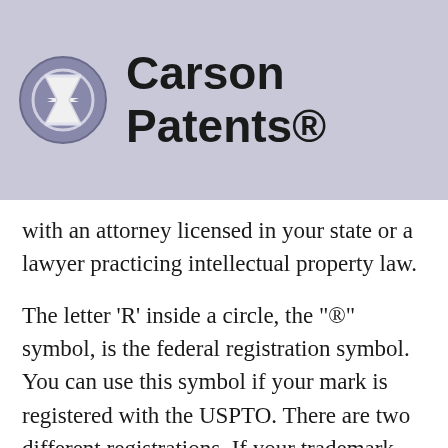Carson Patents®
with an attorney licensed in your state or a lawyer practicing intellectual property law.
The letter 'R' inside a circle, the "®" symbol, is the federal registration symbol. You can use this symbol if your mark is registered with the USPTO. There are two different registrations. If your trademark application is granted, the mark will be listed on the Principal Register on TESS, and then you can use the "®" mark. If your mark is denied, it may still be possible to get on the Supplemental Register and be listed on TESS, and then you can use the "®"